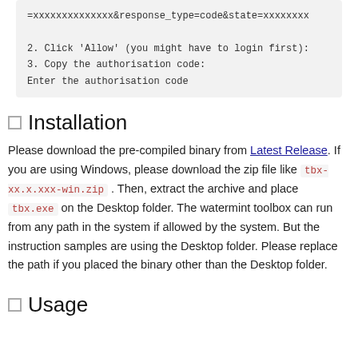=xxxxxxxxxxxxxx&response_type=code&state=xxxxxxxx

2. Click 'Allow' (you might have to login first):
3. Copy the authorisation code:
Enter the authorisation code
Installation
Please download the pre-compiled binary from Latest Release. If you are using Windows, please download the zip file like tbx-xx.x.xxx-win.zip . Then, extract the archive and place tbx.exe on the Desktop folder. The watermint toolbox can run from any path in the system if allowed by the system. But the instruction samples are using the Desktop folder. Please replace the path if you placed the binary other than the Desktop folder.
Usage